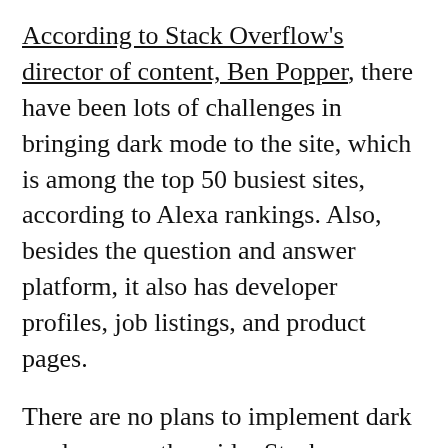According to Stack Overflow's director of content, Ben Popper, there have been lots of challenges in bringing dark mode to the site, which is among the top 50 busiest sites, according to Alexa rankings. Also, besides the question and answer platform, it also has developer profiles, job listings, and product pages.
There are no plans to implement dark mode run on the wider Stack Exchange network, which includes its many other question-and-answer sites like Ask Ubuntu, Mathematics, and Server Fault, according to Popper.
"Many of the designs on our sites have been